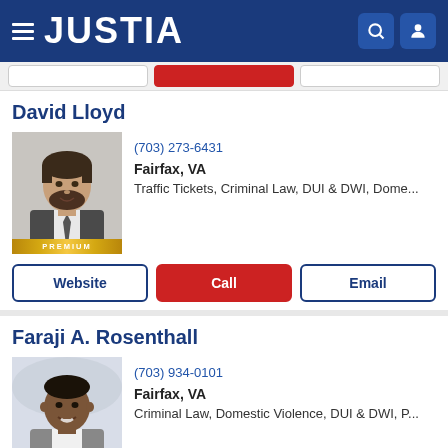JUSTIA
David Lloyd
(703) 273-6431
Fairfax, VA
Traffic Tickets, Criminal Law, DUI & DWI, Dome...
Faraji A. Rosenthall
(703) 934-0101
Fairfax, VA
Criminal Law, Domestic Violence, DUI & DWI, P...